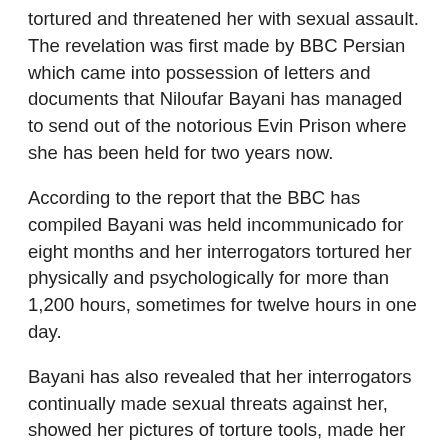tortured and threatened her with sexual assault. The revelation was first made by BBC Persian which came into possession of letters and documents that Niloufar Bayani has managed to send out of the notorious Evin Prison where she has been held for two years now.
According to the report that the BBC has compiled Bayani was held incommunicado for eight months and her interrogators tortured her physically and psychologically for more than 1,200 hours, sometimes for twelve hours in one day.
Bayani has also revealed that her interrogators continually made sexual threats against her, showed her pictures of torture tools, made her listen to descriptions of others' tortures and execution for hours, and pretended that they were going to give her a paralyzing or lethal injection.
The revelation immediately led to a public outcry on social media by people living in Iran and abroad. The case is seen as one of the